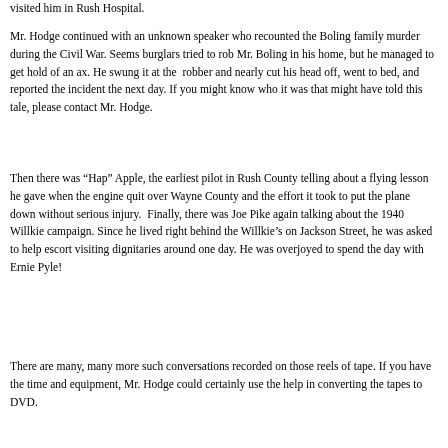visited him in Rush Hospital.
Mr. Hodge continued with an unknown speaker who recounted the Boling family murder during the Civil War. Seems burglars tried to rob Mr. Boling in his home, but he managed to get hold of an ax. He swung it at the robber and nearly cut his head off, went to bed, and reported the incident the next day. If you might know who it was that might have told this tale, please contact Mr. Hodge.
Then there was “Hap” Apple, the earliest pilot in Rush County telling about a flying lesson he gave when the engine quit over Wayne County and the effort it took to put the plane down without serious injury. Finally, there was Joe Pike again talking about the 1940 Willkie campaign. Since he lived right behind the Willkie’s on Jackson Street, he was asked to help escort visiting dignitaries around one day. He was overjoyed to spend the day with Ernie Pyle!
There are many, many more such conversations recorded on those reels of tape. If you have the time and equipment, Mr. Hodge could certainly use the help in converting the tapes to DVD.